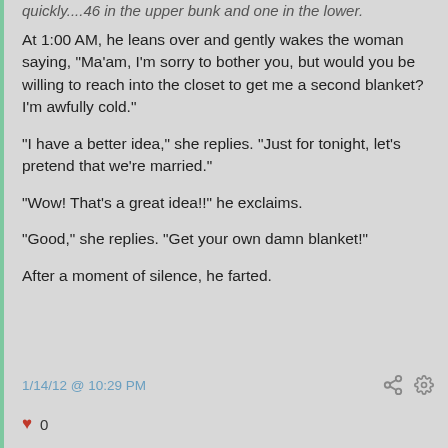quickly....46 in the upper bunk and one in the lower.
At 1:00 AM, he leans over and gently wakes the woman saying, "Ma'am, I'm sorry to bother you, but would you be willing to reach into the closet to get me a second blanket? I'm awfully cold."
"I have a better idea," she replies. "Just for tonight, let's pretend that we're married."
"Wow! That's a great idea!!" he exclaims.
"Good," she replies. "Get your own damn blanket!"
After a moment of silence, he farted.
1/14/12 @ 10:29 PM   ♥ 0